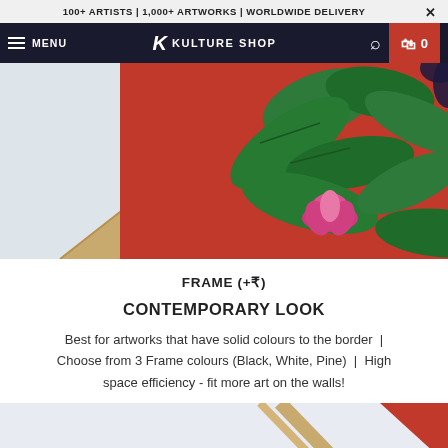100+ ARTISTS | 1,000+ ARTWORKS | WORLDWIDE DELIVERY
[Figure (screenshot): Kulture Shop navigation bar with hamburger menu, logo, search icon, and cart button showing 0 items]
[Figure (photo): Close-up of a framed artwork showing a wooden pine frame with colourful tropical painting featuring green leaves, red background, and pink lotus flowers]
FRAME (+₹)
CONTEMPORARY LOOK
Best for artworks that have solid colours to the border  |  Choose from 3 Frame colours (Black, White, Pine)  |  High space efficiency - fit more art on the walls!
[Figure (photo): Partial view of another framed artwork preview at the bottom of the page, showing light grey background with red triangular corner element]